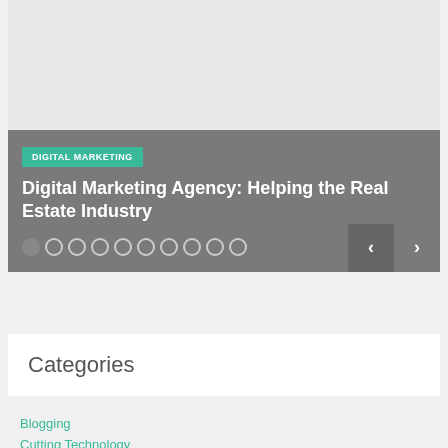[Figure (screenshot): Slideshow image area — light gray placeholder image at top of slider card]
DIGITAL MARKETING
Digital Marketing Agency: Helping the Real Estate Industry
[Figure (other): Slider navigation dots (10 dots, first filled) and left/right arrow buttons]
Categories
Blogging
Cutting Technology